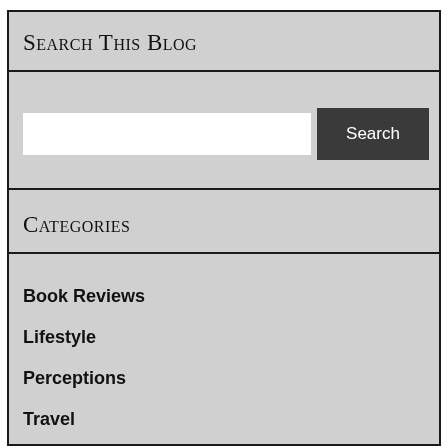Search This Blog
[Figure (screenshot): Search input box with a dark Search button]
Categories
Book Reviews
Lifestyle
Perceptions
Travel